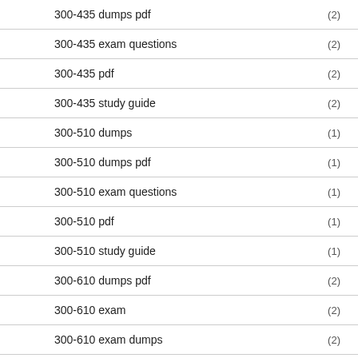300-435 dumps pdf (2)
300-435 exam questions (2)
300-435 pdf (2)
300-435 study guide (2)
300-510 dumps (1)
300-510 dumps pdf (1)
300-510 exam questions (1)
300-510 pdf (1)
300-510 study guide (1)
300-610 dumps pdf (2)
300-610 exam (2)
300-610 exam dumps (2)